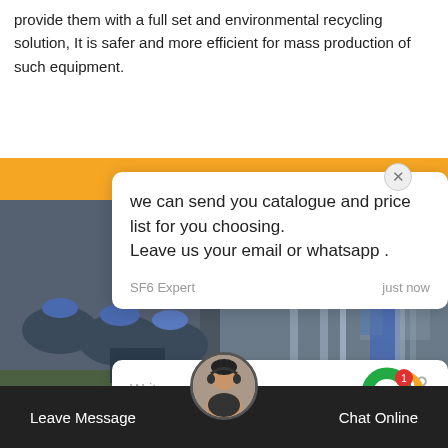provide them with a full set and environmental recycling solution, It is safer and more efficient for mass production of such equipment.
[Figure (screenshot): Orange banner area behind chat UI]
[Figure (photo): Workers in blue uniforms and helmets working on equipment in an industrial setting]
[Figure (screenshot): Chat popup bubble with message: 'we can send you catalogue and price list for you choosing. Leave us your email or whatsapp.' Sender: SF6 Expert, Time: just now. Reply box below with 'Write a reply..' placeholder and thumbs-up and paperclip icons. Green notification circle with chat icon and badge '1'. Close X button. Avatar of agent.]
[Figure (screenshot): Bottom navigation bar with 'Leave Message' on left, 'Chat Online' on right, and support agent avatar in center]
Leave Message    Chat Online